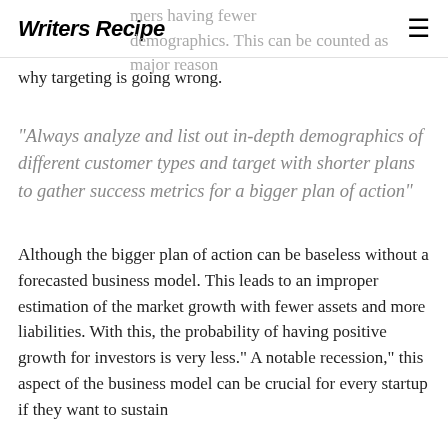Writers Recipe
mers having fewer demographics. This can be counted as major reason why targeting is going wrong.
“Always analyze and list out in-depth demographics of different customer types and target with shorter plans to gather success metrics for a bigger plan of action”
Although the bigger plan of action can be baseless without a forecasted business model. This leads to an improper estimation of the market growth with fewer assets and more liabilities. With this, the probability of having positive growth for investors is very less.” A notable recession,” this aspect of the business model can be crucial for every startup if they want to sustain